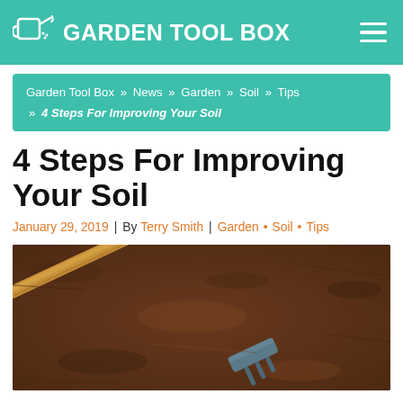GARDEN TOOL BOX
Garden Tool Box » News » Garden » Soil » Tips » 4 Steps For Improving Your Soil
4 Steps For Improving Your Soil
January 29, 2019 | By Terry Smith | Garden • Soil • Tips
[Figure (photo): A garden hoe or cultivator tool with a wooden handle and blue metal head resting on dark brown soil.]